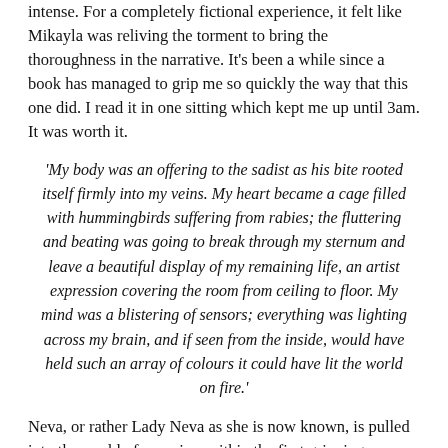intense. For a completely fictional experience, it felt like Mikayla was reliving the torment to bring the thoroughness in the narrative. It's been a while since a book has managed to grip me so quickly the way that this one did. I read it in one sitting which kept me up until 3am. It was worth it.
'My body was an offering to the sadist as his bite rooted itself firmly into my veins. My heart became a cage filled with hummingbirds suffering from rabies; the fluttering and beating was going to break through my sternum and leave a beautiful display of my remaining life, an artist expression covering the room from ceiling to floor. My mind was a blistering of sensors; everything was lighting across my brain, and if seen from the inside, would have held such an array of colours it could have lit the world on fire.'
Neva, or rather Lady Neva as she is now known, is pulled into the world of vampires within the first gripping chapter. With flashbacks into the past, you discover that